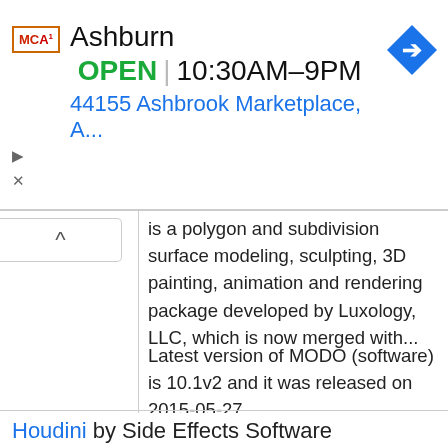[Figure (infographic): Ad banner showing MCA logo, Ashburn location OPEN 10:30AM–9PM, address 44155 Ashbrook Marketplace, A..., and navigation arrow icon]
is a polygon and subdivision surface modeling, sculpting, 3D painting, animation and rendering package developed by Luxology, LLC, which is now merged with...
Latest version of MODO (software) is 10.1v2 and it was released on 2015-05-27.
Tags: 3d Graphics Software, Global Illumination Software, 3d Animation Software, 3d Computer Graphics Software For Linux, Proprietary Commercial Software For Linux
Houdini by Side Effects Software
Windows  Mac  Linux
Houdini is a 3D animation application